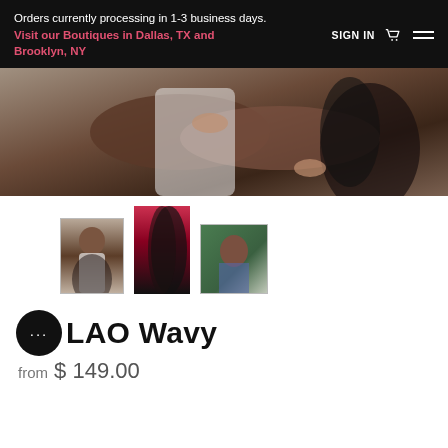Orders currently processing in 1-3 business days. Visit our Boutiques in Dallas, TX and Brooklyn, NY
[Figure (photo): Close-up photo of a woman with long wavy black hair, arms crossed over a white top, against a grey background]
[Figure (photo): Thumbnail 1: Woman with long wavy hair in white top]
[Figure (photo): Thumbnail 2: Close-up of long wavy black hair extensions]
[Figure (photo): Thumbnail 3: Woman outdoors near a green floral wall]
LAO Wavy
from $ 149.00